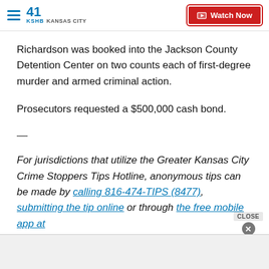41 KSHB KANSAS CITY | Watch Now
Richardson was booked into the Jackson County Detention Center on two counts each of first-degree murder and armed criminal action.
Prosecutors requested a $500,000 cash bond.
—
For jurisdictions that utilize the Greater Kansas City Crime Stoppers Tips Hotline, anonymous tips can be made by calling 816-474-TIPS (8477), submitting the tip online or through the free mobile app at